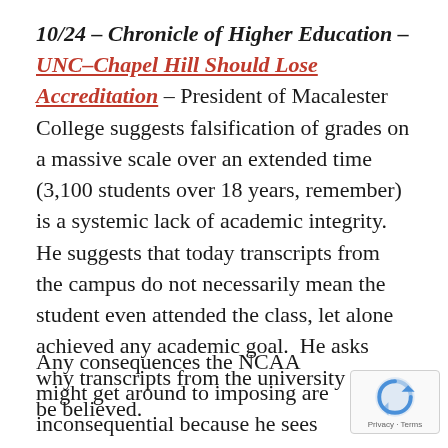10/24 – Chronicle of Higher Education – UNC–Chapel Hill Should Lose Accreditation – President of Macalester College suggests falsification of grades on a massive scale over an extended time (3,100 students over 18 years, remember) is a systemic lack of academic integrity. He suggests that today transcripts from the campus do not necessarily mean the student even attended the class, let alone achieved any academic goal.  He asks why transcripts from the university should be believed.
Any consequences the NCAA might get around to imposing are inconsequential because he sees this as an academic issue and not just limited to the athletics department. He